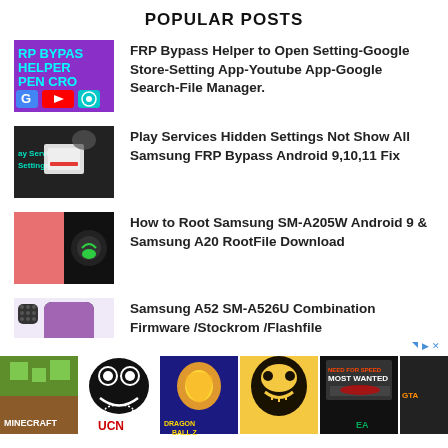POPULAR POSTS
FRP Bypass Helper to Open Setting-Google Store-Setting App-Youtube App-Google Search-File Manager.
Play Services Hidden Settings Not Show All Samsung FRP Bypass Android 9,10,11 Fix
How to Root Samsung SM-A205W Android 9 & Samsung A20 RootFile Download
Samsung A52 SM-A526U Combination Firmware /Stockrom /Flashfile
[Figure (screenshot): Advertisement banner with game app icons: Minecraft, UCN, Dragon Ball Z, Bendy, Need for Speed Most Wanted, GTA]